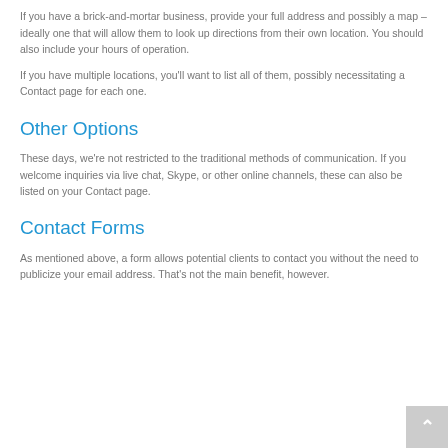include this information in their search query.
If you have a brick-and-mortar business, provide your full address and possibly a map – ideally one that will allow them to look up directions from their own location. You should also include your hours of operation.
If you have multiple locations, you'll want to list all of them, possibly necessitating a Contact page for each one.
Other Options
These days, we're not restricted to the traditional methods of communication. If you welcome inquiries via live chat, Skype, or other online channels, these can also be listed on your Contact page.
Contact Forms
As mentioned above, a form allows potential clients to contact you without the need to publicize your email address. That's not the main benefit, however.